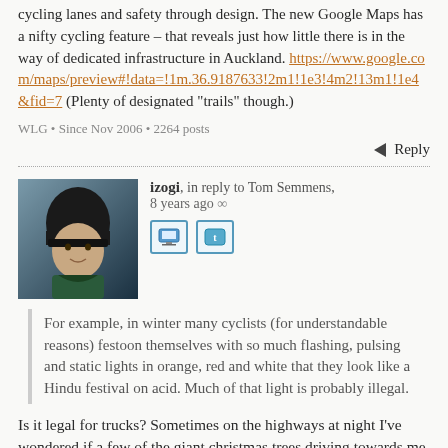cycling lanes and safety through design. The new Google Maps has a nifty cycling feature – that reveals just how little there is in the way of dedicated infrastructure in Auckland. https://www.google.com/maps/preview#!data=!1m.36.9187633!2m1!1e3!4m2!13m1!1e4&fid=7 (Plenty of designated “trails” though.)
WLG • Since Nov 2006 • 2264 posts
◄ Reply
izogi, in reply to Tom Semmens, 8 years ago ∞
For example, in winter many cyclists (for understandable reasons) festoon themselves with so much flashing, pulsing and static lights in orange, red and white that they look like a Hindu festival on acid. Much of that light is probably illegal.
Is it legal for trucks? Sometimes on the highways at night I’ve wondered if a few of the giant christmas trees driving towards me might be more likely to